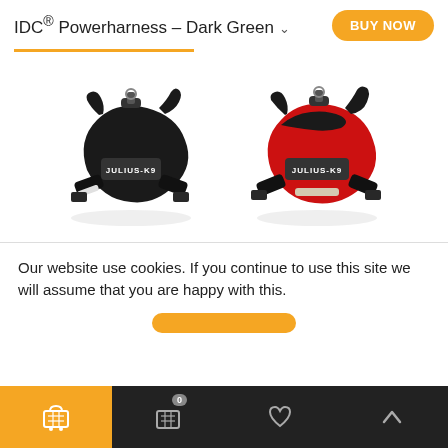IDC® Powerharness – Dark Green  ∨   BUY NOW
[Figure (photo): Two Julius-K9 IDC Powerharnesses shown side by side: one black (left) and one red (right), both with reflective strap and Julius-K9 logo label.]
Our website use cookies. If you continue to use this site we will assume that you are happy with this.
Cart | 0 | Heart | Up arrow